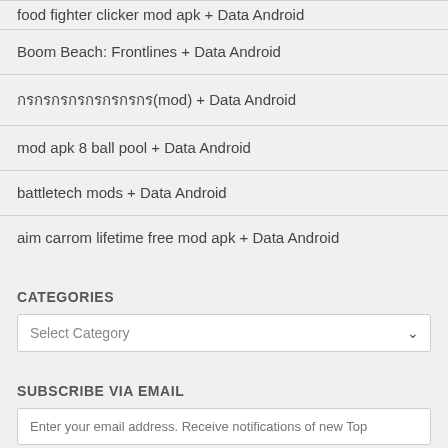food fighter clicker mod apk + Data Android
Boom Beach: Frontlines + Data Android
กรกรกรกรกรกรกรกร(mod) + Data Android
mod apk 8 ball pool + Data Android
battletech mods + Data Android
aim carrom lifetime free mod apk + Data Android
CATEGORIES
Select Category
SUBSCRIBE VIA EMAIL
Enter your email address. Receive notifications of new Top